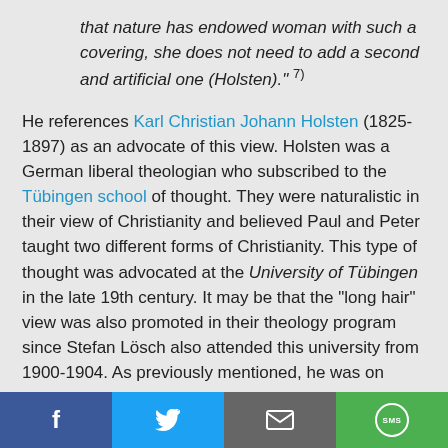that nature has endowed woman with such a covering, she does not need to add a second and artificial one (Holsten)." 7)
He references Karl Christian Johann Holsten (1825-1897) as an advocate of this view. Holsten was a German liberal theologian who subscribed to the Tübingen school of thought. They were naturalistic in their view of Christianity and believed Paul and Peter taught two different forms of Christianity. This type of thought was advocated at the University of Tübingen in the late 19th century. It may be that the "long hair" view was also promoted in their theology program since Stefan Lösch also attended this university from 1900-1904. As previously mentioned, he was on